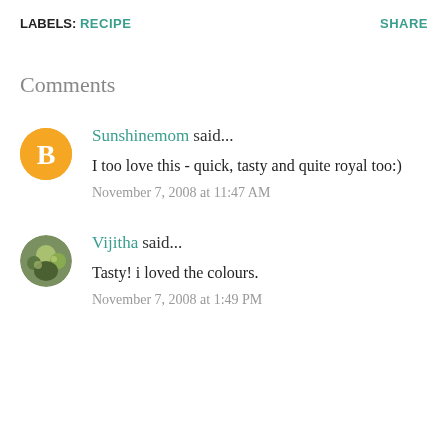LABELS: RECIPE    SHARE
Comments
Sunshinemom said...
I too love this - quick, tasty and quite royal too:)
November 7, 2008 at 11:47 AM
Vijitha said...
Tasty! i loved the colours.
November 7, 2008 at 1:49 PM